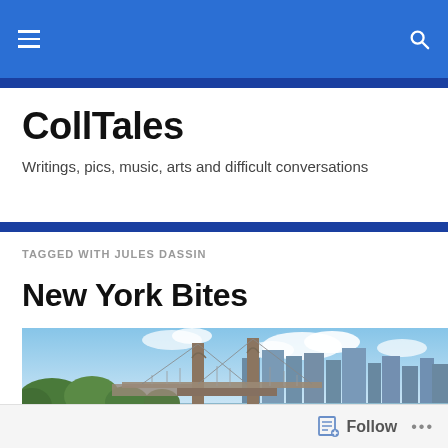CollTales navigation bar with hamburger menu and search icon
CollTales
Writings, pics, music, arts and difficult conversations
TAGGED WITH JULES DASSIN
New York Bites
[Figure (photo): Photo of the Brooklyn Bridge with the Manhattan skyline in the background, blue sky with clouds, green trees in foreground, river below.]
Follow  ...